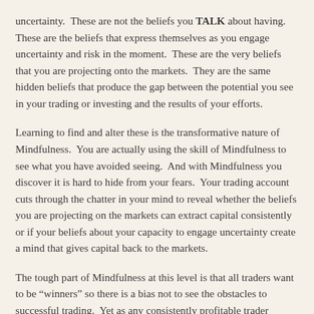uncertainty.  These are not the beliefs you TALK about having.  These are the beliefs that express themselves as you engage uncertainty and risk in the moment.  These are the very beliefs that you are projecting onto the markets.  They are the same hidden beliefs that produce the gap between the potential you see in your trading or investing and the results of your efforts.
Learning to find and alter these is the transformative nature of Mindfulness.  You are actually using the skill of Mindfulness to see what you have avoided seeing.  And with Mindfulness you discover it is hard to hide from your fears.  Your trading account cuts through the chatter in your mind to reveal whether the beliefs you are projecting on the markets can extract capital consistently or if your beliefs about your capacity to engage uncertainty create a mind that gives capital back to the markets.
The tough part of Mindfulness at this level is that all traders want to be “winners” so there is a bias not to see the obstacles to successful trading.  Yet as any consistently profitable trader